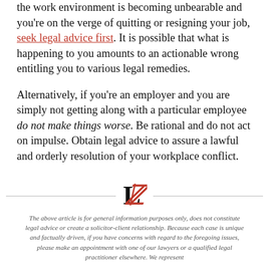the work environment is becoming unbearable and you're on the verge of quitting or resigning your job, seek legal advice first. It is possible that what is happening to you amounts to an actionable wrong entitling you to various legal remedies.
Alternatively, if you're an employer and you are simply not getting along with a particular employee do not make things worse. Be rational and do not act on impulse. Obtain legal advice to assure a lawful and orderly resolution of your workplace conflict.
[Figure (logo): Stylized letter L logo with a red italic slash/Z element through it, centered between two horizontal divider lines]
The above article is for general information purposes only, does not constitute legal advice or create a solicitor-client relationship. Because each case is unique and factually driven, if you have concerns with regard to the foregoing issues, please make an appointment with one of our lawyers or a qualified legal practitioner elsewhere. We represent